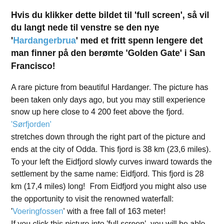Hvis du klikker dette bildet til 'full screen', så vil du langt nede til venstre se den nye 'Hardangerbrua' med et fritt spenn lengere det man finner på den berømte 'Golden Gate' i San Francisco!
A rare picture from beautiful Hardanger. The picture has been taken only days ago, but you may still experience snow up here close to 4 200 feet above the fjord. 'Sørfjorden' stretches down through the right part of the picture and ends at the city of Odda. This fjord is 38 km (23,6 miles). To your left the Eidfjord slowly curves inward towards the settlement by the same name: Eidfjord. This fjord is 28 km (17,4 miles) long!  From Eidfjord you might also use the opportunity to visit the renowned waterfall: 'Voeringfossen' with a free fall of 163 meter! If you click this picture into 'full screen', you will be able to